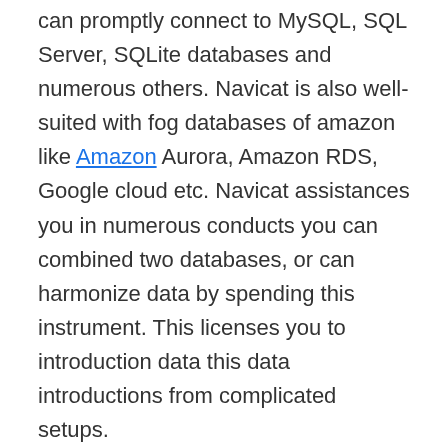can promptly connect to MySQL, SQL Server, SQLite databases and numerous others. Navicat is also well-suited with fog databases of amazon like Amazon Aurora, Amazon RDS, Google cloud etc. Navicat assistances you in numerous conducts you can combined two databases, or can harmonize data by spending this instrument. This licenses you to introduction data this data introductions from complicated setups.
Navicat Premium Full Version The worker only has to first-rate the almanac related to an exact database for watching data. Furthermore, it leases operator transmission data from one file to other by only slow or repetition data from one almanac and plummeting or pasting data in other. With these types, you can effortlessly attach to different